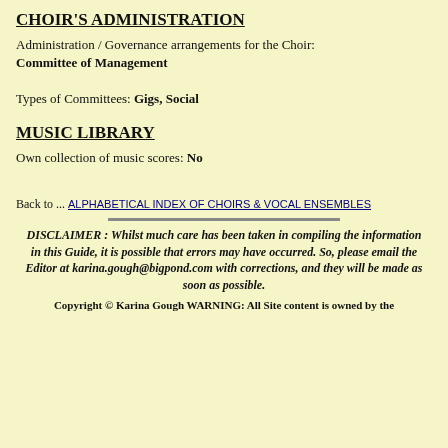CHOIR'S ADMINISTRATION
Administration / Governance arrangements for the Choir: Committee of Management
Types of Committees: Gigs, Social
MUSIC LIBRARY
Own collection of music scores: No
Back to ... ALPHABETICAL INDEX OF CHOIRS & VOCAL ENSEMBLES
DISCLAIMER : Whilst much care has been taken in compiling the information in this Guide, it is possible that errors may have occurred. So, please email the Editor at karina.gough@bigpond.com with corrections, and they will be made as soon as possible.
Copyright © Karina Gough WARNING: All Site content is owned by the